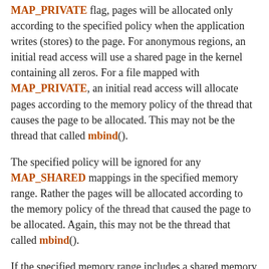MAP_PRIVATE flag, pages will be allocated only according to the specified policy when the application writes (stores) to the page. For anonymous regions, an initial read access will use a shared page in the kernel containing all zeros. For a file mapped with MAP_PRIVATE, an initial read access will allocate pages according to the memory policy of the thread that causes the page to be allocated. This may not be the thread that called mbind().
The specified policy will be ignored for any MAP_SHARED mappings in the specified memory range. Rather the pages will be allocated according to the memory policy of the thread that caused the page to be allocated. Again, this may not be the thread that called mbind().
If the specified memory range includes a shared memory region created using the shmget(2)